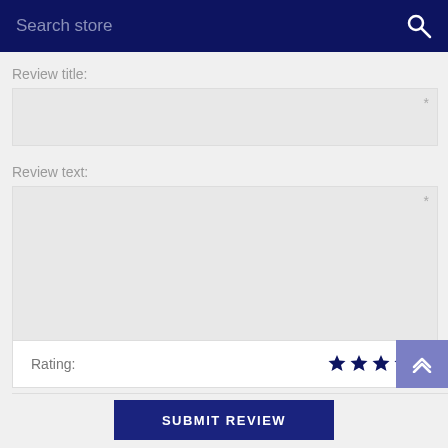Search store
Review title:
Review text:
Rating:
[Figure (other): Star rating showing approximately 3.5 out of 5 stars, rendered as dark navy blue stars]
SUBMIT REVIEW